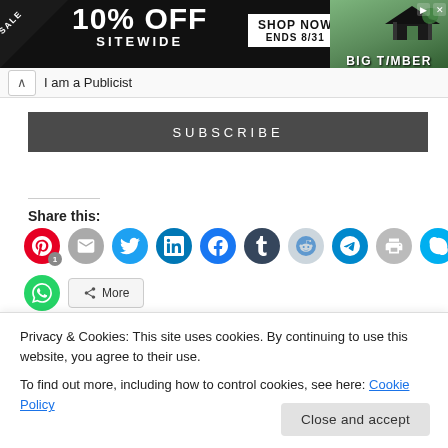[Figure (other): Advertisement banner: black background with SALE triangle, '10% OFF SITEWIDE' text, 'SHOP NOW ENDS 8/31' box, and BIG TIMBER logo with gazebo image]
I am a Publicist
SUBSCRIBE
Share this:
[Figure (infographic): Social sharing buttons row: Pinterest (red, with badge 1), Email (gray), Twitter (cyan), LinkedIn (blue), Facebook (blue), Tumblr (dark blue), Reddit (light blue/gray), Telegram (blue), Print (gray), Skype (blue)]
[Figure (other): Second row of share buttons: WhatsApp (green circle) and More button with share icon]
Privacy & Cookies: This site uses cookies. By continuing to use this website, you agree to their use.
To find out more, including how to control cookies, see here: Cookie Policy
Close and accept